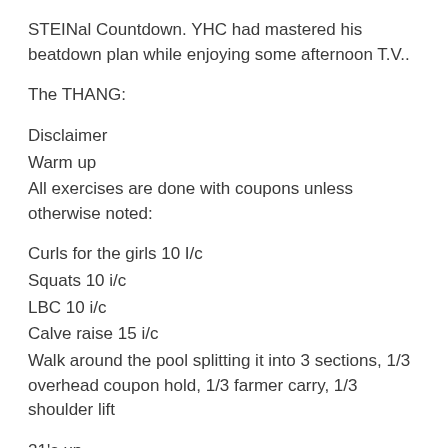STEINal Countdown. YHC had mastered his beatdown plan while enjoying some afternoon T.V..
The THANG:
Disclaimer
Warm up
All exercises are done with coupons unless otherwise noted:
Curls for the girls 10 I/c
Squats 10 i/c
LBC 10 i/c
Calve raise 15 i/c
Walk around the pool splitting it into 3 sections, 1/3 overhead coupon hold, 1/3 farmer carry, 1/3 shoulder lift
21's up
Gorilla squats 15 i/c